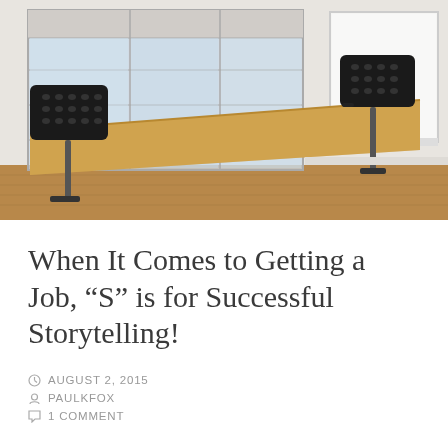[Figure (photo): Classroom with two black chairs around a light wood desk, windows on the left, and a whiteboard on the right wall.]
When It Comes to Getting a Job, “S” is for Successful Storytelling!
AUGUST 2, 2015
PAULKFOX
1 COMMENT